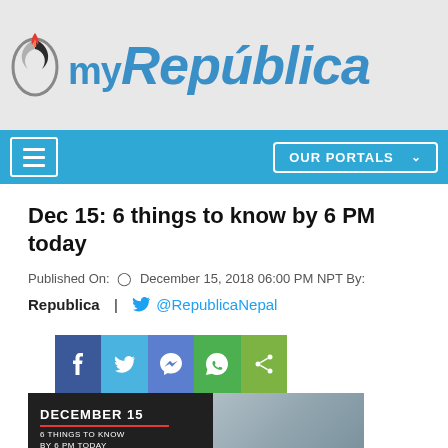[Figure (logo): myRepública logo with flame icon on grey background]
myRepública navigation bar with hamburger menu and OUR PORTALS button
Dec 15: 6 things to know by 6 PM today
Published On: © December 15, 2018 06:00 PM NPT By:
Republica  |  @RepublicaNepal
[Figure (infographic): Social share buttons: Facebook, Twitter, Messenger, WhatsApp, Share]
[Figure (photo): December 15 - 6 things to know by 6 PM today article image with text overlay]